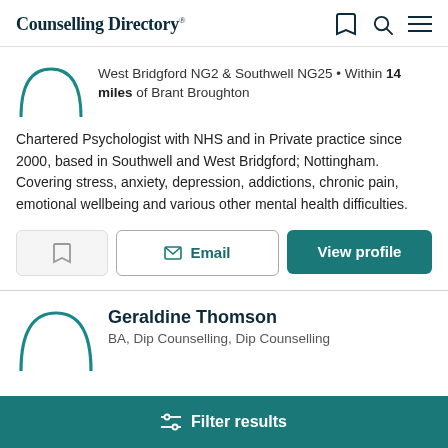Counselling Directory
West Bridgford NG2 & Southwell NG25 • Within 14 miles of Brant Broughton
Chartered Psychologist with NHS and in Private practice since 2000, based in Southwell and West Bridgford; Nottingham. Covering stress, anxiety, depression, addictions, chronic pain, emotional wellbeing and various other mental health difficulties.
Email
View profile
Geraldine Thomson
BA, Dip Counselling, Dip Counselling
Filter results